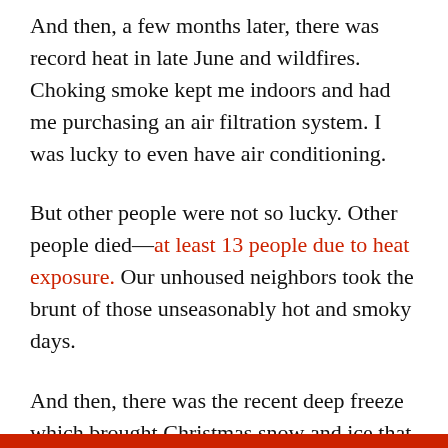And then, a few months later, there was record heat in late June and wildfires. Choking smoke kept me indoors and had me purchasing an air filtration system. I was lucky to even have air conditioning.
But other people were not so lucky. Other people died—at least 13 people due to heat exposure. Our unhoused neighbors took the brunt of those unseasonably hot and smoky days.
And then, there was the recent deep freeze which brought Christmas snow and ice that didn't melt for a week. Then the snow melted and there was yet another atmospheric river, bringing down inches of rain, causing flooding.